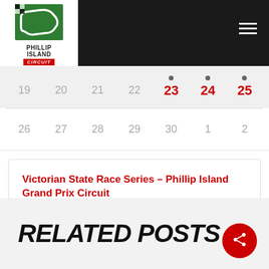[Figure (logo): Phillip Island Circuit logo with checkered flag and circuit map, red CIRCUIT text below]
| 19 | 20 | 21 | 22 | 23 | 24 | 25 |
| 26 | 27 | 28 | 29 | 30 | 1 | 2 |
Victorian State Race Series – Phillip Island Grand Prix Circuit
September 23 @ 12:00 am - September 25 @ 12:00 am
RELATED POSTS